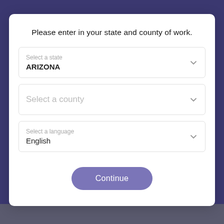Please enter in your state and county of work.
Select a state
ARIZONA
Select a county
Select a language
English
Continue